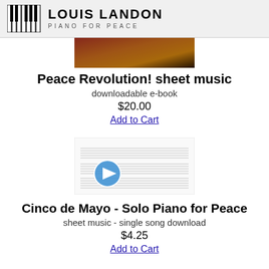LOUIS LANDON PIANO FOR PEACE
[Figure (photo): Fire/flame abstract image for Peace Revolution sheet music product]
Peace Revolution! sheet music
downloadable e-book
$20.00
Add to Cart
[Figure (photo): Sheet music preview image with play button overlay for Cinco de Mayo - Solo Piano for Peace]
Cinco de Mayo - Solo Piano for Peace
sheet music - single song download
$4.25
Add to Cart